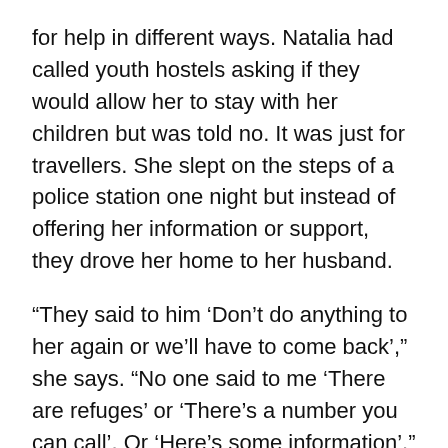for help in different ways. Natalia had called youth hostels asking if they would allow her to stay with her children but was told no. It was just for travellers. She slept on the steps of a police station one night but instead of offering her information or support, they drove her home to her husband.
“They said to him ‘Don’t do anything to her again or we’ll have to come back’,” she says. “No one said to me ‘There are refuges’ or ‘There’s a number you can call’. Or ‘Here’s some information’.”
She says those things would have given her